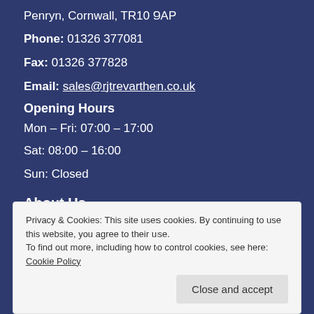Penryn, Cornwall, TR10 9AP
Phone: 01326 377081
Fax: 01326 377828
Email: sales@rjtrevarthen.co.uk
Opening Hours
Mon – Fri: 07:00 – 17:00
Sat: 08:00 – 16:00
Sun: Closed
About Us
Privacy & Cookies: This site uses cookies. By continuing to use this website, you agree to their use. To find out more, including how to control cookies, see here: Cookie Policy